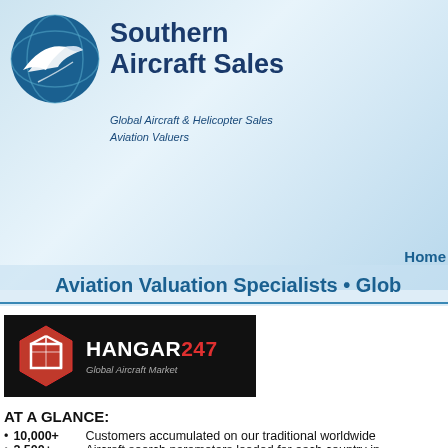[Figure (logo): Southern Aircraft Sales logo with blue circle containing aircraft silhouette]
Southern Aircraft Sales
Global Aircraft & Helicopter Sales
Aviation Valuers
Aviation Valuation Specialists • Glob
[Figure (logo): Hangar247 Global Aircraft Market logo - black background with red hexagon icon and white/red text]
AT A GLANCE:
10,000+	Customers accumulated on our traditional worldwide
2,500+	Aircraft search parameters loaded for each country in
180+	Countries
287+	Million total worldwide specific aircraft market audienc
200,000+	Global buyer/visitor interactions per month*
1,000+	Followers on social media platforms